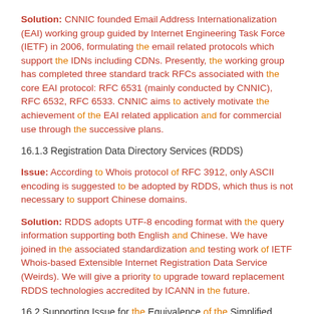Solution: CNNIC founded Email Address Internationalization (EAI) working group guided by Internet Engineering Task Force (IETF) in 2006, formulating the email related protocols which support the IDNs including CDNs. Presently, the working group has completed three standard track RFCs associated with the core EAI protocol: RFC 6531 (mainly conducted by CNNIC), RFC 6532, RFC 6533. CNNIC aims to actively motivate the achievement of the EAI related application and for commercial use through the successive plans.
16.1.3 Registration Data Directory Services (RDDS)
Issue: According to Whois protocol of RFC 3912, only ASCII encoding is suggested to be adopted by RDDS, which thus is not necessary to support Chinese domains.
Solution: RDDS adopts UTF-8 encoding format with the query information supporting both English and Chinese. We have joined in the associated standardization and testing work of IETF Whois-based Extensible Internet Registration Data Service (Weirds). We will give a priority to upgrade toward replacement RDDS technologies accredited by ICANN in the future.
16.2 Supporting Issue for the Equivalence of the Simplified, Traditional and Variant Chinese